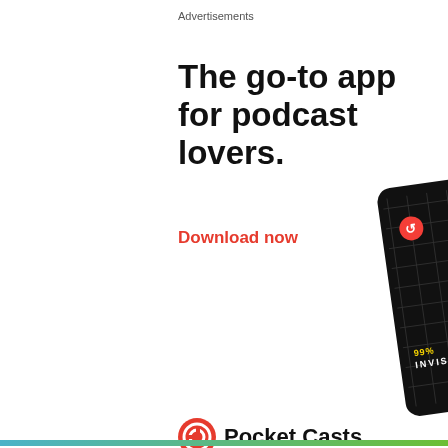Advertisements
The go-to app for podcast lovers.
Download now
[Figure (illustration): Pocket Casts podcast app cards illustration showing 99% Invisible, The Daily, and other podcast artwork cards fanned out]
Pocket Casts
REPORT THIS AD
Privacy & Cookies: This site uses cookies. By continuing to use this website, you agree to their use. To find out more, including how to control cookies, see here: Cookie Policy
Close and accept